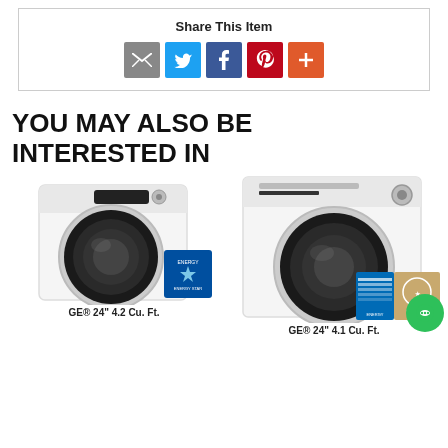Share This Item
[Figure (screenshot): Social share icons: email (grey), Twitter (blue), Facebook (blue), Pinterest (red), More (orange-red)]
YOU MAY ALSO BE INTERESTED IN
[Figure (photo): GE® 24" front-load washing machine in white with black drum, Energy Star badge]
[Figure (photo): GE® 24" front-load dryer in white with black drum, certification badges and chat bubble]
GE® 24" 4.2 Cu. Ft.
GE® 24" 4.1 Cu. Ft.